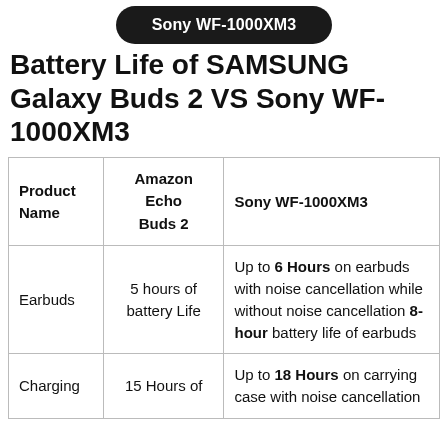Sony WF-1000XM3
Battery Life of SAMSUNG Galaxy Buds 2 VS Sony WF-1000XM3
| Product Name | Amazon Echo Buds 2 | Sony WF-1000XM3 |
| --- | --- | --- |
| Earbuds | 5 hours of battery Life | Up to 6 Hours on earbuds with noise cancellation while without noise cancellation 8-hour battery life of earbuds |
| Charging | 15 Hours of | Up to 18 Hours on carrying case with noise cancellation |